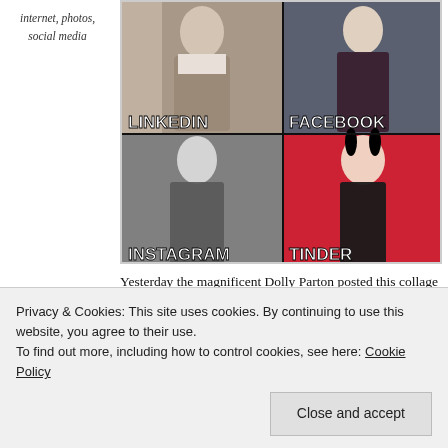internet, photos, social media
[Figure (photo): A 2x2 photo collage showing Dolly Parton in four different styles labeled LINKEDIN (professional outfit), FACEBOOK (Christmas sweater), INSTAGRAM (black and white artistic photo), and TINDER (Playboy bunny costume on red background)]
Yesterday the magnificent Dolly Parton posted this collage on her social media accounts – it has since
Privacy & Cookies: This site uses cookies. By continuing to use this website, you agree to their use.
To find out more, including how to control cookies, see here: Cookie Policy
Close and accept